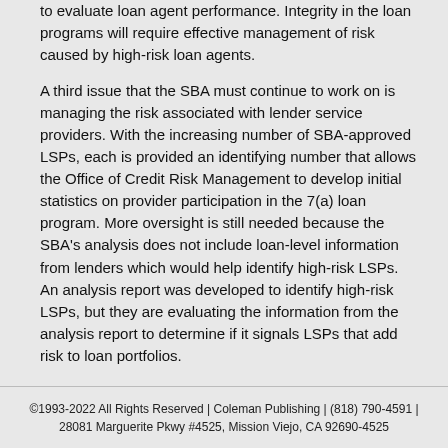to evaluate loan agent performance. Integrity in the loan programs will require effective management of risk caused by high-risk loan agents.
A third issue that the SBA must continue to work on is managing the risk associated with lender service providers. With the increasing number of SBA-approved LSPs, each is provided an identifying number that allows the Office of Credit Risk Management to develop initial statistics on provider participation in the 7(a) loan program. More oversight is still needed because the SBA's analysis does not include loan-level information from lenders which would help identify high-risk LSPs. An analysis report was developed to identify high-risk LSPs, but they are evaluating the information from the analysis report to determine if it signals LSPs that add risk to loan portfolios.
Source:
OIG Report
©1993-2022 All Rights Reserved | Coleman Publishing | (818) 790-4591 | 28081 Marguerite Pkwy #4525, Mission Viejo, CA 92690-4525